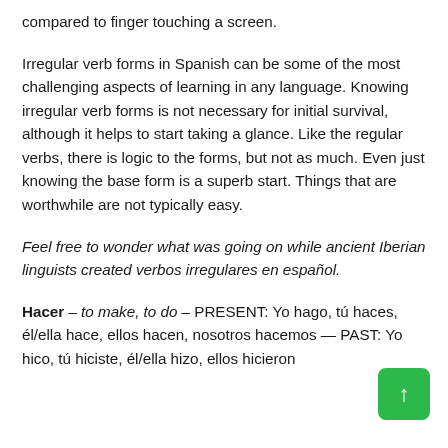compared to finger touching a screen.
Irregular verb forms in Spanish can be some of the most challenging aspects of learning in any language. Knowing irregular verb forms is not necessary for initial survival, although it helps to start taking a glance. Like the regular verbs, there is logic to the forms, but not as much. Even just knowing the base form is a superb start. Things that are worthwhile are not typically easy.
Feel free to wonder what was going on while ancient Iberian linguists created verbos irregulares en español.
Hacer – to make, to do – PRESENT: Yo hago, tú haces, él/ella hace, ellos hacen, nosotros hacemos — PAST: Yo hico, tú hiciste, él/ella hizo, ellos hicieron